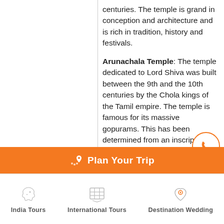centuries. The temple is grand in conception and architecture and is rich in tradition, history and festivals.
Arunachala Temple: The temple dedicated to Lord Shiva was built between the 9th and the 10th centuries by the Chola kings of the Tamil empire. The temple is famous for its massive gopurams. This has been determined from an inscription in the structure that was made during the reign of Chola kings who ruled in the ninth century A.D.
Later in the afternoon drive to Pondicherry. Upon arrival check into the
Plan Your Trip
India Tours   International Tours   Destination Wedding